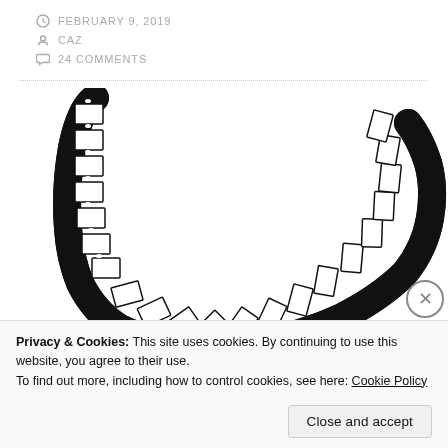FEBRUARY 9, 2019
CAZ
24 COMMENTS
[Figure (illustration): Hand-drawn film strip curling in a U-shape with 'Celebrating 10 Years!' text in red below, and a sign reading 'Let's Go To...' at the bottom left]
Privacy & Cookies: This site uses cookies. By continuing to use this website, you agree to their use.
To find out more, including how to control cookies, see here: Cookie Policy
Close and accept